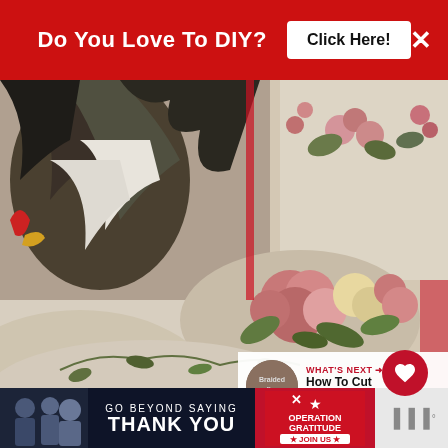[Figure (infographic): Red banner advertisement: 'Do You Love To DIY? Click Here!' with white X close button on right]
[Figure (photo): Close-up photograph of floral upholstered sofa/cushions showing rooster-print pillow and rose-patterned fabric in pink, green, and cream tones]
WHAT'S NEXT → How To Cut And Resize ...
[Figure (infographic): Bottom advertisement banner: 'GO BEYOND SAYING THANK YOU' with Operation Gratitude logo and JOIN US button]